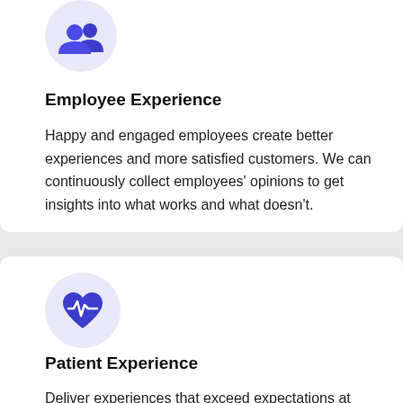[Figure (illustration): Blue people/group icon inside a light lavender circle, representing Employee Experience]
Employee Experience
Happy and engaged employees create better experiences and more satisfied customers. We can continuously collect employees' opinions to get insights into what works and what doesn't.
[Figure (illustration): Blue heart with heartbeat/pulse line icon inside a light lavender circle, representing Patient Experience]
Patient Experience
Deliver experiences that exceed expectations at